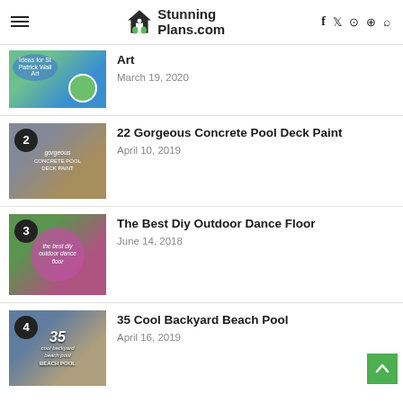StunningPlans.com — navigation header with hamburger menu, logo, and social icons
Art — March 19, 2020
22 Gorgeous Concrete Pool Deck Paint — April 10, 2019
The Best Diy Outdoor Dance Floor — June 14, 2018
35 Cool Backyard Beach Pool — April 16, 2019